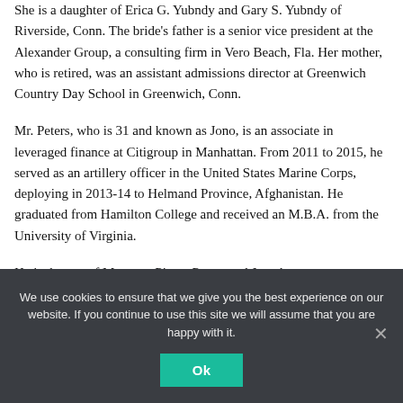She is a daughter of Erica G. Yubndy and Gary S. Yubndy of Riverside, Conn. The bride's father is a senior vice president at the Alexander Group, a consulting firm in Vero Beach, Fla. Her mother, who is retired, was an assistant admissions director at Greenwich Country Day School in Greenwich, Conn.
Mr. Peters, who is 31 and known as Jono, is an associate in leveraged finance at Citigroup in Manhattan. From 2011 to 2015, he served as an artillery officer in the United States Marine Corps, deploying in 2013-14 to Helmand Province, Afghanistan. He graduated from Hamilton College and received an M.B.A. from the University of Virginia.
He is the son of Margaret Pierce Peters and Jonathan
We use cookies to ensure that we give you the best experience on our website. If you continue to use this site we will assume that you are happy with it.